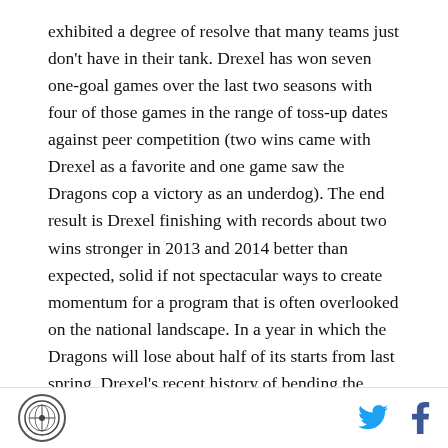exhibited a degree of resolve that many teams just don't have in their tank. Drexel has won seven one-goal games over the last two seasons with four of those games in the range of toss-up dates against peer competition (two wins came with Drexel as a favorite and one game saw the Dragons cop a victory as an underdog). The end result is Drexel finishing with records about two wins stronger in 2013 and 2014 better than expected, solid if not spectacular ways to create momentum for a program that is often overlooked on the national landscape. In a year in which the Dragons will lose about half of its starts from last spring, Drexel's recent history of bending the universe in its direction will help define its ceiling.
[logo] [twitter] [facebook]